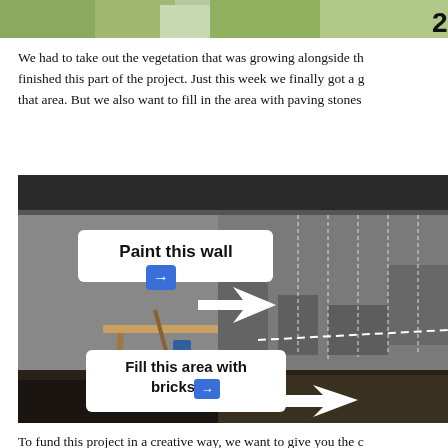[Figure (photo): Top cropped photo showing greenery/vegetation and a number visible at top right corner]
We had to take out the vegetation that was growing alongside th... finished this part of the project. Just this week we finally got a g... that area. But we also want to fill in the area with paving stones...
[Figure (photo): Photo of a concrete wall with two annotation callouts: 'Paint this wall' with blue arrow button pointing right toward the wall, and 'Fill this area with bricks' with blue arrow button pointing toward the ground area. White arrow shapes point to the respective areas in the image.]
To fund this project in a creative way, we want to give you the c...